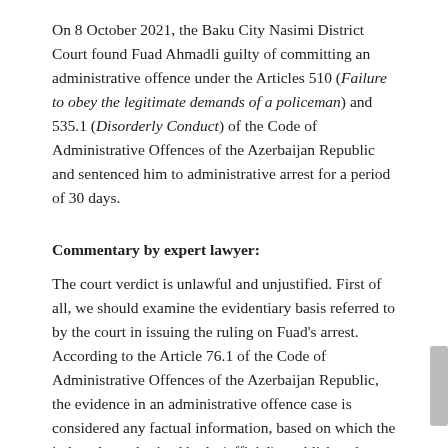On 8 October 2021, the Baku City Nasimi District Court found Fuad Ahmadli guilty of committing an administrative offence under the Articles 510 (Failure to obey the legitimate demands of a policeman) and 535.1 (Disorderly Conduct) of the Code of Administrative Offences of the Azerbaijan Republic and sentenced him to administrative arrest for a period of 30 days.
Commentary by expert lawyer:
The court verdict is unlawful and unjustified. First of all, we should examine the evidentiary basis referred to by the court in issuing the ruling on Fuad's arrest. According to the Article 76.1 of the Code of Administrative Offences of the Azerbaijan Republic, the evidence in an administrative offence case is considered any factual information, based on which the judge, the authorized body (official) establishes the presence or absence of an administrative offence, the guilt of the person who committed it and other circumstances significant for the appropriate case examination.